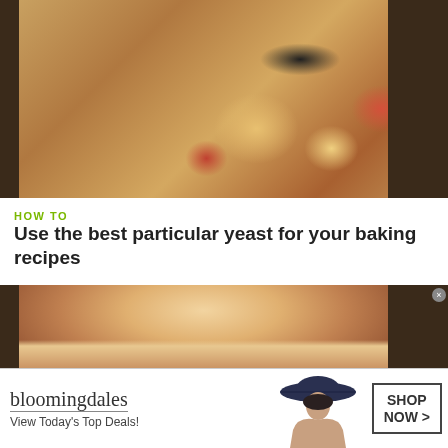[Figure (photo): Photo of various yeast packets and baking ingredients spread on a table, viewed from above. Colorful packaging including red and yellow packages visible.]
HOW TO
Use the best particular yeast for your baking recipes
[Figure (photo): Close-up photo of a freshly baked loaf of white bread with golden-brown top crust.]
bloomingdales
View Today's Top Deals!
SHOP NOW >